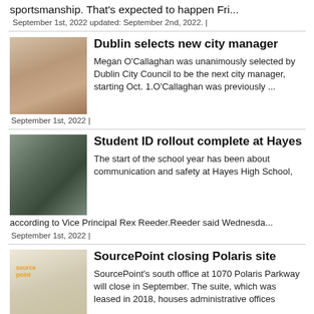sportsmanship. That's expected to happen Fri...
September 1st, 2022 updated: September 2nd, 2022. |
Dublin selects new city manager
Megan O'Callaghan was unanimously selected by Dublin City Council to be the next city manager, starting Oct. 1.O'Callaghan was previously ...
September 1st, 2022 |
Student ID rollout complete at Hayes
The start of the school year has been about communication and safety at Hayes High School, according to Vice Principal Rex Reeder.Reeder said Wednesda...
September 1st, 2022 |
SourcePoint closing Polaris site
SourcePoint's south office at 1070 Polaris Parkway will close in September. The suite, which was leased in 2018, houses administrative offices